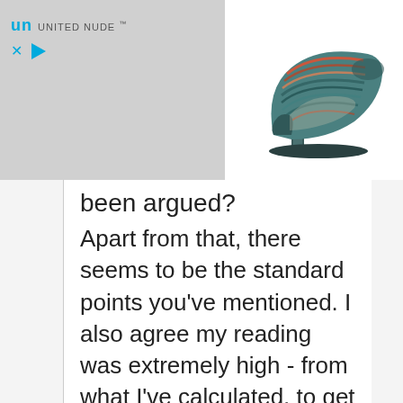[Figure (screenshot): Advertisement banner for United Nude shoes. Left side shows 'UN UNITED NUDE' logo in teal/blue with a close (x) button and play button. Right side shows a white background with a photo of a multicolored striped high-heel shoe.]
been argued?
Apart from that, there seems to be the standard points you've mentioned. I also agree my reading was extremely high - from what I've calculated, to get anywhere near this reading, I would have had a peak over 0.2 BAC. It